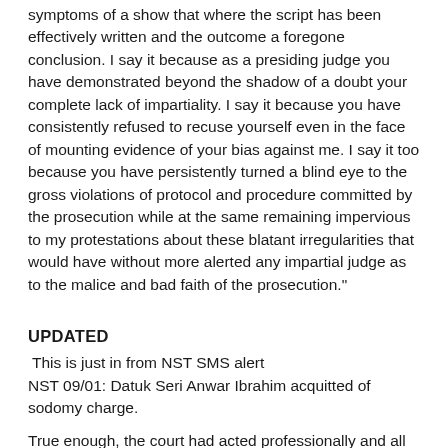symptoms of a show that where the script has been effectively written and the outcome a foregone conclusion. I say it because as a presiding judge you have demonstrated beyond the shadow of a doubt your complete lack of impartiality. I say it because you have consistently refused to recuse yourself even in the face of mounting evidence of your bias against me. I say it too because you have persistently turned a blind eye to the gross violations of protocol and procedure committed by the prosecution while at the same remaining impervious to my protestations about these blatant irregularities that would have without more alerted any impartial judge as to the malice and bad faith of the prosecution."
UPDATED
This is just in from NST SMS alert
NST 09/01: Datuk Seri Anwar Ibrahim acquitted of sodomy charge.
True enough, the court had acted professionally and all quarters must respect its decision.